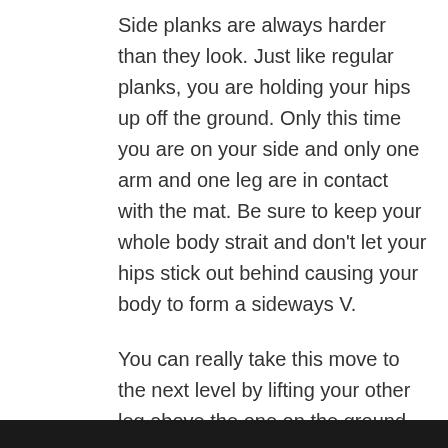Side planks are always harder than they look. Just like regular planks, you are holding your hips up off the ground. Only this time you are on your side and only one arm and one leg are in contact with the mat. Be sure to keep your whole body strait and don't let your hips stick out behind causing your body to form a sideways V.
You can really take this move to the next level by lifting your other leg above the one on the ground kind of like you're doing a jumping jack on the side.